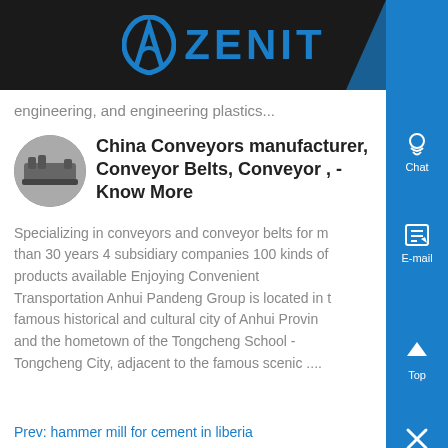ZENIT
engineering, and engineering plastics...
China Conveyors manufacturer, Conveyor Belts, Conveyor , - Know More
Specializing in conveyors and conveyor belts for more than 30 years 4 subsidiary companies 100 kinds of products available Enjoying Convenient Transportation Anhui Pandeng Group is located in the famous historical and cultural city of Anhui Province and the hometown of the Tongcheng School - Tongcheng City, adjacent to the famous scenic ....
Prev: hammer mill for cement in liberia